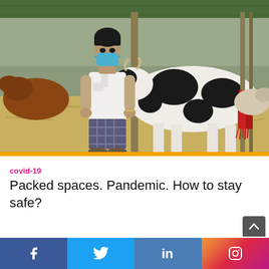[Figure (photo): A man wearing a blue face mask and white shirt with plaid shorts standing in a livestock market next to a large black and white cow. Red decorative items hang from bamboo poles. Hay on the ground. Other cattle visible in the background under a covered shed.]
covid-19
Packed spaces. Pandemic. How to stay safe?
[Figure (infographic): Social media share bar at the bottom with Facebook, Twitter, LinkedIn, and Instagram icons]